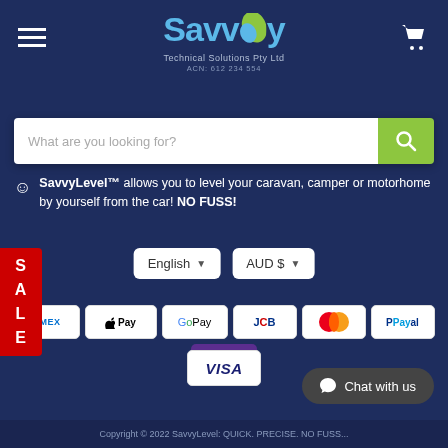[Figure (logo): Savvy Technical Solutions Pty Ltd logo with leaf icon, ACN: 612 234 554]
[Figure (screenshot): Search bar with placeholder 'What are you looking for?' and green search button]
SavvyLevel™ allows you to level your caravan, camper or motorhome by yourself from the car! NO FUSS!
[Figure (infographic): SALE banner in red on left side]
[Figure (screenshot): Language dropdown showing 'English' and currency dropdown showing 'AUD $']
[Figure (infographic): Payment method icons: AMEX, Apple Pay, Google Pay, JCB, Mastercard, PayPal, OPay, VISA]
[Figure (screenshot): Chat with us button]
Copyright © 2022 SavvyLevel: QUICK. PRECISE. NO FUSS...